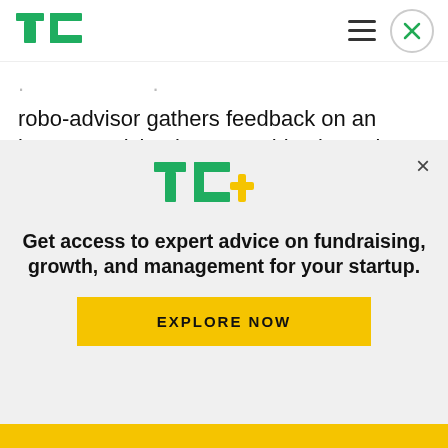TechCrunch logo with hamburger menu and close button
robo-advisor gathers feedback on an investor's risk tolerance, objectives, time horizon and other background demographics and uses algorithms to help determine a suitable investment strategy. These solutions are perfect for the lower "strata" of the wealth world, whose estate planning and tax needs are less complex, for example.
[Figure (logo): TechCrunch TC+ logo in green and gold]
Get access to expert advice on fundraising, growth, and management for your startup.
EXPLORE NOW